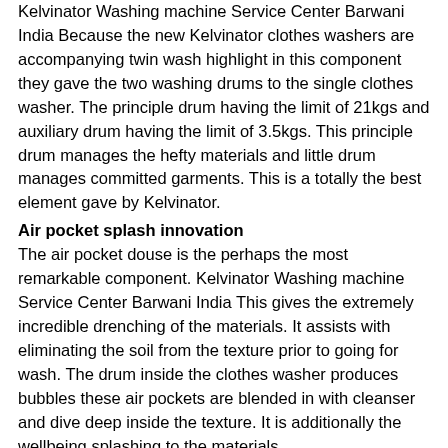Kelvinator Washing machine Service Center Barwani India Because the new Kelvinator clothes washers are accompanying twin wash highlight in this component they gave the two washing drums to the single clothes washer. The principle drum having the limit of 21kgs and auxiliary drum having the limit of 3.5kgs. This principle drum manages the hefty materials and little drum manages committed garments. This is a totally the best element gave by Kelvinator.
Air pocket splash innovation
The air pocket douse is the perhaps the most remarkable component. Kelvinator Washing machine Service Center Barwani India This gives the extremely incredible drenching of the materials. It assists with eliminating the soil from the texture prior to going for wash. The drum inside the clothes washer produces bubbles these air pockets are blended in with cleanser and dive deep inside the texture. It is additionally the wellbeing splashing to the materials.
The Kelvinator is the one of the main brand in India. The home apparatuses which gives by the Kelvinator is fridges, clothes washers, microwaves, forced air...